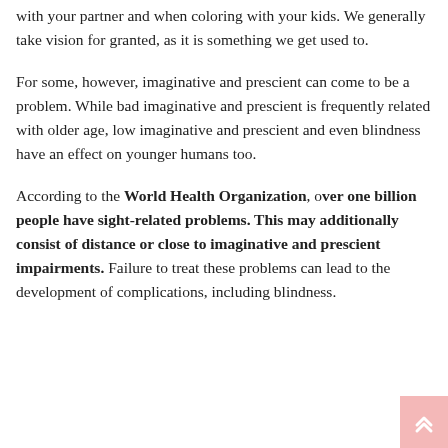with your partner and when coloring with your kids. We generally take vision for granted, as it is something we get used to.
For some, however, imaginative and prescient can come to be a problem. While bad imaginative and prescient is frequently related with older age, low imaginative and prescient and even blindness have an effect on younger humans too.
According to the World Health Organization, over one billion people have sight-related problems. This may additionally consist of distance or close to imaginative and prescient impairments. Failure to treat these problems can lead to the development of complications, including blindness.